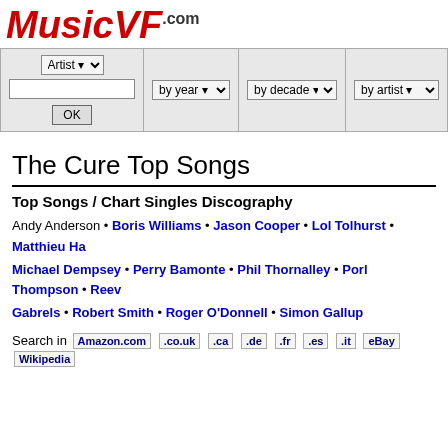[Figure (logo): MusicVF.com logo in red italic bold font]
| Artist [dropdown] / [text input] / OK | by year [dropdown] | by decade [dropdown] | by artist [dropdown] | Contact us / [Facebook like] |
The Cure Top Songs
Top Songs / Chart Singles Discography
Andy Anderson • Boris Williams • Jason Cooper • Lol Tolhurst • Matthieu Ha... Michael Dempsey • Perry Bamonte • Phil Thornalley • Porl Thompson • Reev... Gabrels • Robert Smith • Roger O'Donnell • Simon Gallup
Search in Amazon.com .co.uk .ca .de .fr .es .it eBay Wikipedia